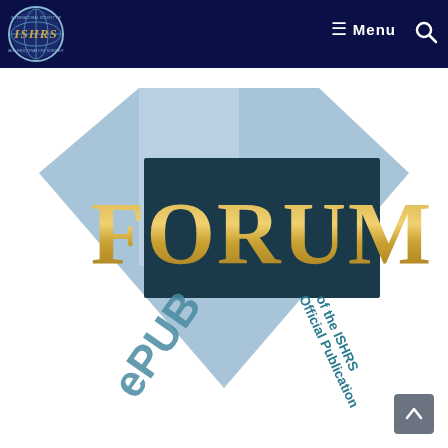[Figure (logo): ISHRS (International Society of Hair Restoration Surgery) circular logo with globe imagery on dark navy navigation bar]
[Figure (illustration): FORUM ePUB logo — a diamond/heart shaped light blue geometric background with a dark teal rectangle containing the gold metallic text FORUM, and teal italic text ePUB and rotated text Official Publication of the ISHRS]